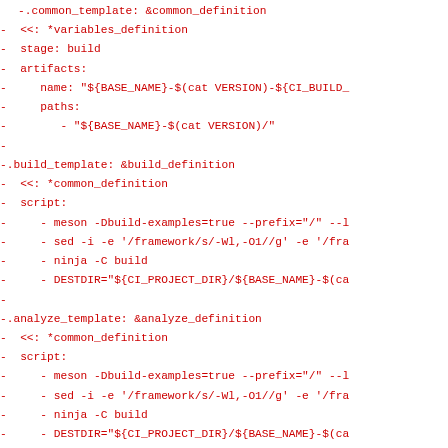-.common_template: &common_definition
-  <<: *variables_definition
-  stage: build
-  artifacts:
-     name: "${BASE_NAME}-$(cat VERSION)-${CI_BUILD_
-     paths:
-        - "${BASE_NAME}-$(cat VERSION)/"
-
-.build_template: &build_definition
-  <<: *common_definition
-  script:
-     - meson -Dbuild-examples=true --prefix="/" --l
-     - sed -i -e '/framework/s/-Wl,-O1//g' -e '/fra
-     - ninja -C build
-     - DESTDIR="${CI_PROJECT_DIR}/${BASE_NAME}-$(ca
-
-.analyze_template: &analyze_definition
-  <<: *common_definition
-  script:
-     - meson -Dbuild-examples=true --prefix="/" --l
-     - sed -i -e '/framework/s/-Wl,-O1//g' -e '/fra
-     - ninja -C build
-     - DESTDIR="${CI_PROJECT_DIR}/${BASE_NAME}-$(ca
-
-     - CC=clang CXX=clang++ meson -Dbuild-examples=
-     - ninja -C clang
-
-     - scan-build --status-bugs meson -Dbuild-examp
-     - scan-build --status-bugs ninja -C scanbuild
-